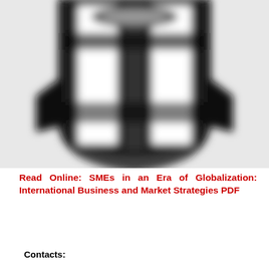[Figure (logo): Blurred black and white shield/crest logo, partially cropped at top, showing a heraldic emblem with vertical stripes and decorative elements]
Read Online: SMEs in an Era of Globalization: International Business and Market Strategies PDF
Contacts: